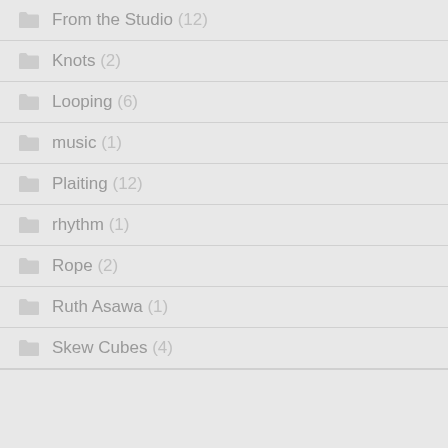From the Studio (12)
Knots (2)
Looping (6)
music (1)
Plaiting (12)
rhythm (1)
Rope (2)
Ruth Asawa (1)
Skew Cubes (4)